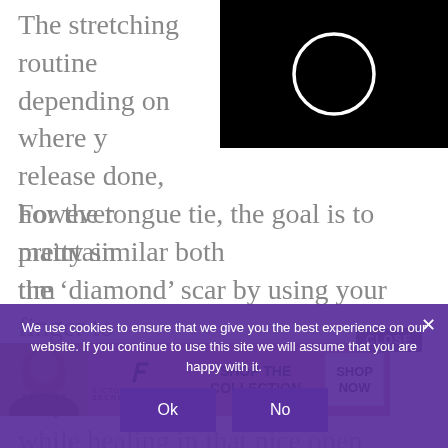The stretching routine depending on where y release done, however pretty similar both tim
[Figure (screenshot): Black rectangle with a white circle outline in the center, resembling a video player or image viewer overlay]
For the tongue tie, the goal is to maintain the ‘diamond’ scar by using your finger to press This help sue while healing in that nice open diamond shape (see AFTER photos above for reference).
[Figure (advertisement): Victoria's Secret advertisement banner with pink background, model photo on left, VS logo in center, SHOP THE COLLECTION text, and SHOP NOW button on right]
We use cookies to ensure that we give you the best experience on our website. If you continue to use this site we will assume that you are happy with it.